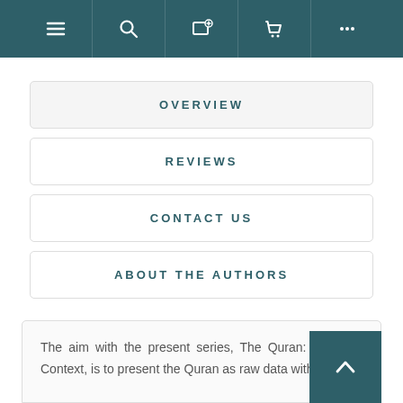[Figure (screenshot): Navigation bar with icons: hamburger menu, search, add to library, cart, more options (three dots)]
OVERVIEW
REVIEWS
CONTACT US
ABOUT THE AUTHORS
The aim with the present series, The Quran: Key W[ords] in Context, is to present the Quran as raw data with as